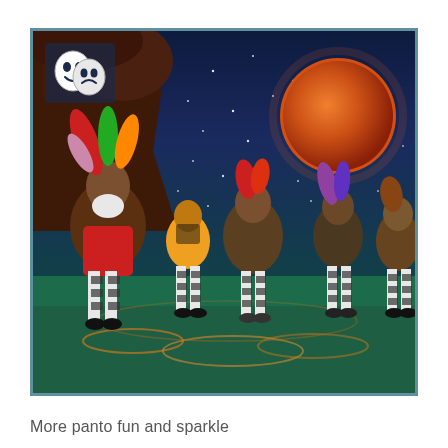[Figure (photo): A theatrical pantomime stage scene showing several characters in elaborate costumes with large feathered hats and striped stockings, dancing or performing on a stage with a dark night sky backdrop, large red/orange full moon on the right, dark tree branches on the upper left, and a glowing green/teal stage floor with circular markings. A theatre comedy/tragedy masks icon appears in the top-left corner of the image frame. The image is bordered with a teal/steel-blue border.]
More panto fun and sparkle